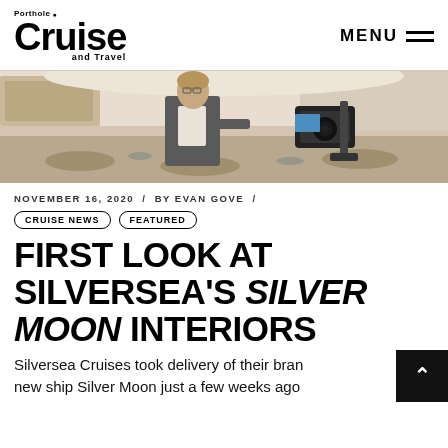Porthole Cruise and Travel | MENU
[Figure (photo): A woman in a blazer stands in a luxury cruise ship interior pointing toward a camera on a gimbal stabilizer. The room has a curved white ceiling and elegant furnishings.]
NOVEMBER 16, 2020 / BY EVAN GOVE /
CRUISE NEWS | FEATURED
FIRST LOOK AT SILVERSEA'S SILVER MOON INTERIORS
Silversea Cruises took delivery of their brand new ship Silver Moon just a few weeks ago